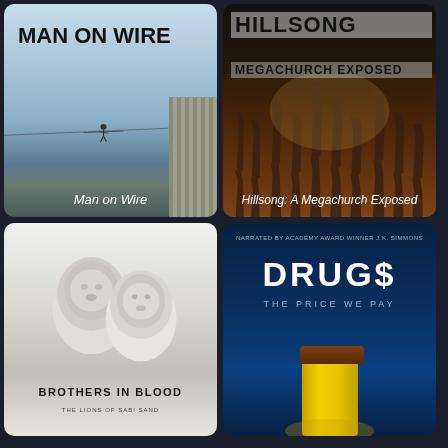[Figure (photo): Movie poster for 'Man on Wire' - shows a person walking on a wire between two tall buildings against a hazy sky. Title text 'MAN ON WIRE' in bold black at top. Label 'Man on Wire' in white italic at bottom.]
[Figure (photo): Movie poster for 'Hillsong: A Megachurch Exposed' - shows a crowd with hands raised against a dark/warm background. Title text 'HILLSONG MEGACHURCH EXPOSED' at top. Label 'Hillsong: A Megachurch Exposed' in white italic at bottom.]
[Figure (photo): Movie poster for 'Brothers in Blood: The Lions of Sabi Sand' - black and white photo of two lions. Text 'BROTHERS IN BLOOD' in bold black at bottom.]
[Figure (photo): Movie poster for 'Drugs: The Price We Pay' - dark blue background with partial pill bottle glowing yellow. Text 'DRUG$' and 'THE PRICE WE PAY' visible. Narrated by Academy Award Winner J.K. Simmons noted at top.]